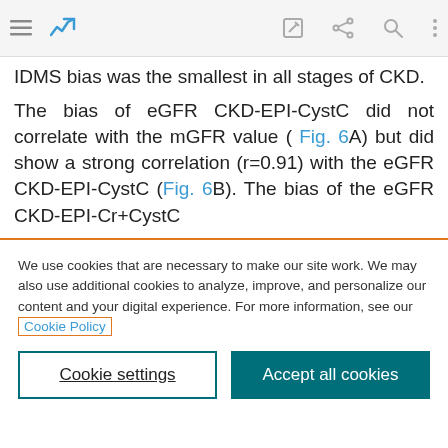Navigation bar with menu, chart icon, edit, share, search, more options
IDMS bias was the smallest in all stages of CKD.
The bias of eGFR CKD-EPI-CystC did not correlate with the mGFR value ( Fig. 6A) but did show a strong correlation (r=0.91) with the eGFR CKD-EPI-CystC (Fig. 6B). The bias of the eGFR CKD-EPI-Cr+CystC
We use cookies that are necessary to make our site work. We may also use additional cookies to analyze, improve, and personalize our content and your digital experience. For more information, see our Cookie Policy
Cookie settings
Accept all cookies